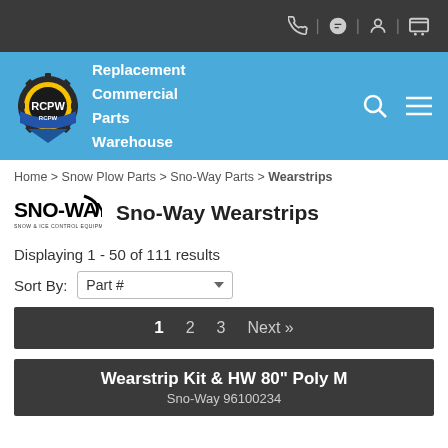Replacement Commercial Parts Warehouse (RCPW)
Home > Snow Plow Parts > Sno-Way Parts > Wearstrips
Sno-Way Wearstrips
Displaying 1 - 50 of 111 results
Sort By: Part #
1  2  3  Next »
Wearstrip Kit & HW 80" Poly M
Sno-Way 96100234